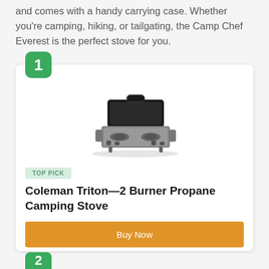and comes with a handy carrying case. Whether you're camping, hiking, or tailgating, the Camp Chef Everest is the perfect stove for you.
[Figure (photo): Photo of a Coleman Triton 2-burner propane camping stove, black, shown open with burners visible.]
TOP PICK
Coleman Triton—2 Burner Propane Camping Stove
Buy Now